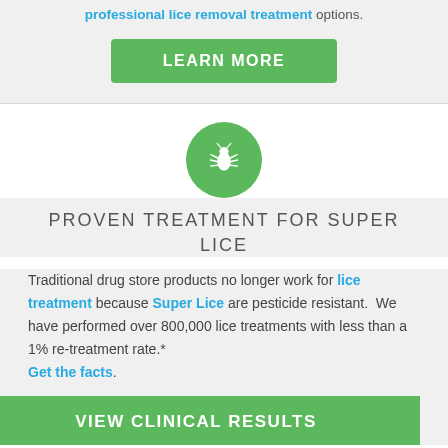professional lice removal treatment options.
LEARN MORE
[Figure (illustration): Green circle icon with white louse/bug silhouette]
PROVEN TREATMENT FOR SUPER LICE
Traditional drug store products no longer work for lice treatment because Super Lice are pesticide resistant.  We have performed over 800,000 lice treatments with less than a 1% re-treatment rate.* Get the facts.
VIEW CLINICAL RESULTS